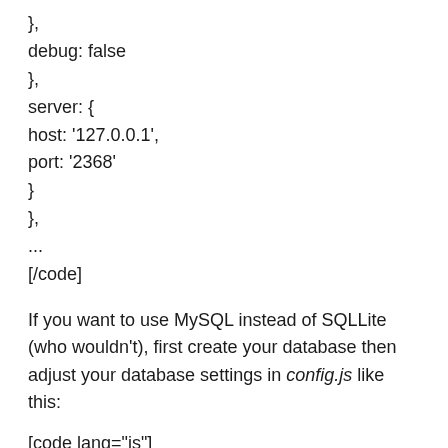},
debug: false
},
server: {
host: '127.0.0.1',
port: '2368'
}
},
...
[/code]
If you want to use MySQL instead of SQLLite (who wouldn't), first create your database then adjust your database settings in config.js like this:
[code lang="js"]
...
database: {
client: 'mysql'